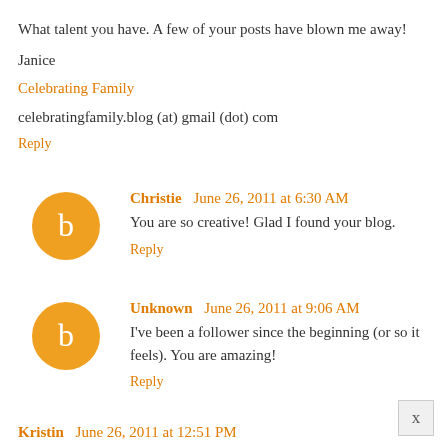What talent you have. A few of your posts have blown me away!
Janice
Celebrating Family
celebratingfamily.blog (at) gmail (dot) com
Reply
Christie  June 26, 2011 at 6:30 AM
You are so creative! Glad I found your blog.
Reply
Unknown  June 26, 2011 at 9:06 AM
I've been a follower since the beginning (or so it feels). You are amazing!
Reply
Kristin  June 26, 2011 at 12:51 PM
Loving your blog! I've been following in Reader for about 6 months